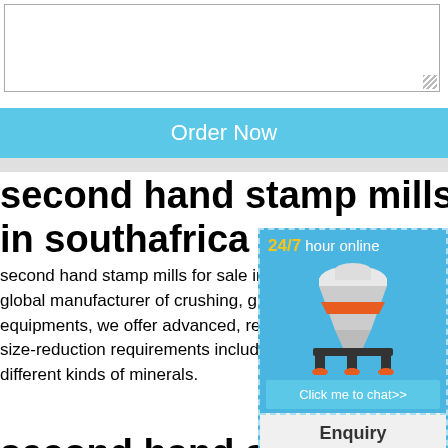[Figure (screenshot): Textarea input box with resize handle in bottom-right corner]
Order Now
second hand stamp mills for sale in southafrica
second hand stamp mills for sale in southa... global manufacturer of crushing, grinding a... equipments, we offer advanced, reasonable size-reduction requirements including quar... different kinds of minerals.
second hand stamp mi... - whitebears.be
Cheap Second Stamp Mills South Africa Pr... second hand gold stamp mills. Gold stamp south africa. amoref pty ltd. stamp mills we...
[Figure (screenshot): Sidebar advertisement panel with '24/7 hour online' text in yellow/white, image of industrial cone crusher machine, 'Click me to chat>>' button, 'Enquiry' section, and 'limingjlmofen' text at bottom. Blue background with dashed border.]